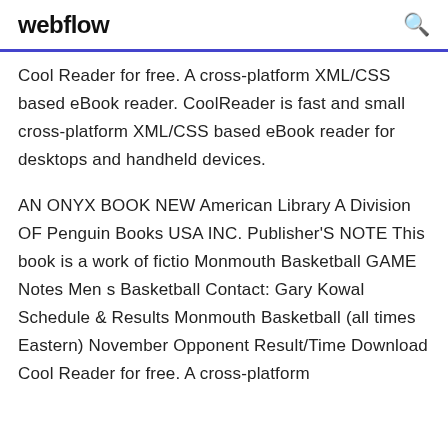webflow
Cool Reader for free. A cross-platform XML/CSS based eBook reader. CoolReader is fast and small cross-platform XML/CSS based eBook reader for desktops and handheld devices.
AN ONYX BOOK NEW American Library A Division OF Penguin Books USA INC. Publisher'S NOTE This book is a work of fictio Monmouth Basketball GAME Notes Men s Basketball Contact: Gary Kowal Schedule & Results Monmouth Basketball (all times Eastern) November Opponent Result/Time Download Cool Reader for free. A cross-platform